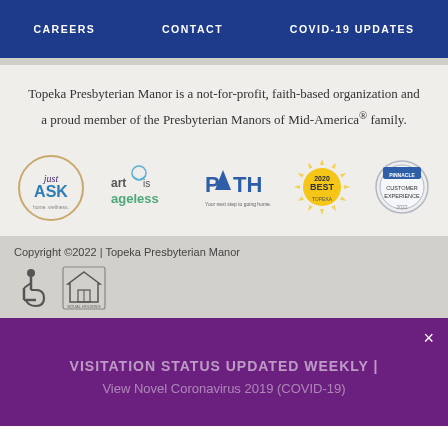CAREERS | CONTACT | COVID-19 UPDATES
Topeka Presbyterian Manor is a not-for-profit, faith-based organization and a proud member of the Presbyterian Manors of Mid-America® family.
[Figure (logo): Five organizational logos: Just Ask, Art is Ageless, PATH, 2020 Best award badge, Customer Experience badge]
Copyright ©2022 | Topeka Presbyterian Manor
[Figure (infographic): Accessibility icon and Equal Housing Opportunity icon]
VISITATION STATUS UPDATED WEEKLY | View Novel Coronavirus 2019 (COVID-19)